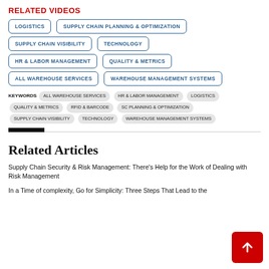RELATED VIDEOS
LOGISTICS
SUPPLY CHAIN PLANNING & OPTIMIZATION
SUPPLY CHAIN VISIBILITY
TECHNOLOGY
HR & LABOR MANAGEMENT
QUALITY & METRICS
ALL WAREHOUSE SERVICES
WAREHOUSE MANAGEMENT SYSTEMS
KEYWORDS ALL WAREHOUSE SERVICES HR & LABOR MANAGEMENT LOGISTICS QUALITY & METRICS RFID & BARCODE SC PLANNING & OPTIMIZATION SUPPLY CHAIN VISIBILITY TECHNOLOGY WAREHOUSE MANAGEMENT SYSTEMS
Related Articles
Supply Chain Security & Risk Management: There's Help for the Work of Dealing with Risk Management
In a Time of complexity, Go for Simplicity: Three Steps That Lead to the